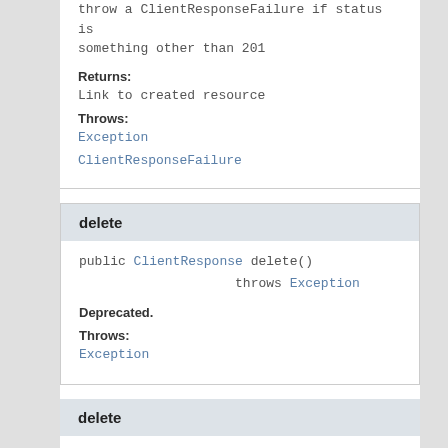throw a ClientResponseFailure if status is something other than 201
Returns:
Link to created resource
Throws:
Exception
ClientResponseFailure
delete
public ClientResponse delete()
                throws Exception
Deprecated.
Throws:
Exception
delete